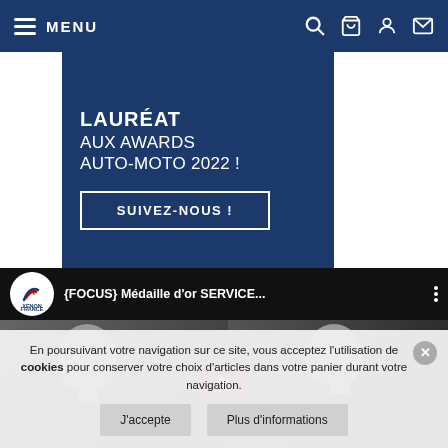MENU
[Figure (screenshot): Blue promotional banner with text LAURÉAT AUX AWARDS AUTO-MOTO 2022! and a SUIVEZ-NOUS! button]
[Figure (screenshot): YouTube video embed showing France Xenon logo and title {FOCUS} Médaille d'or SERVICE... with two people visible]
En poursuivant votre navigation sur ce site, vous acceptez l'utilisation de cookies pour conserver votre choix d'articles dans votre panier durant votre navigation.